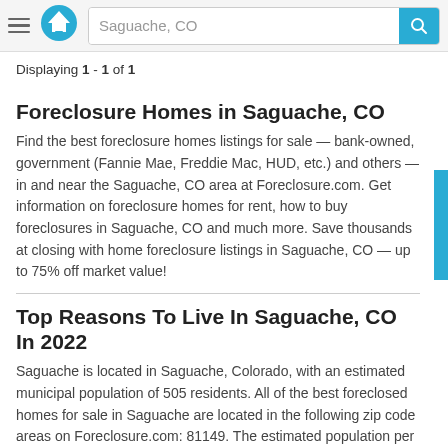Saguache, CO
Displaying 1 - 1 of 1
Foreclosure Homes in Saguache, CO
Find the best foreclosure homes listings for sale — bank-owned, government (Fannie Mae, Freddie Mac, HUD, etc.) and others — in and near the Saguache, CO area at Foreclosure.com. Get information on foreclosure homes for rent, how to buy foreclosures in Saguache, CO and much more. Save thousands at closing with home foreclosure listings in Saguache, CO — up to 75% off market value!
Top Reasons To Live In Saguache, CO In 2022
Saguache is located in Saguache, Colorado, with an estimated municipal population of 505 residents. All of the best foreclosed homes for sale in Saguache are located in the following zip code areas on Foreclosure.com: 81149. The estimated population per